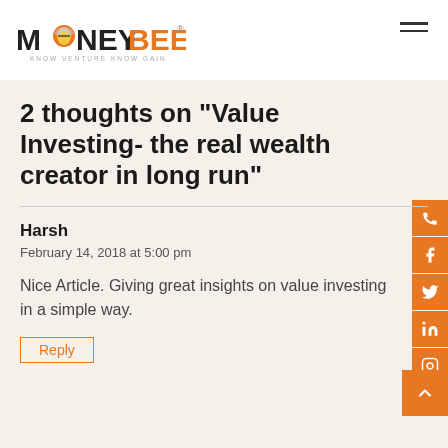MONEYBEE - KNOW VENTURE KNOW GAIN
2 thoughts on “Value Investing- the real wealth creator in long run”
Harsh
February 14, 2018 at 5:00 pm
Nice Article. Giving great insights on value investing in a simple way.
Reply